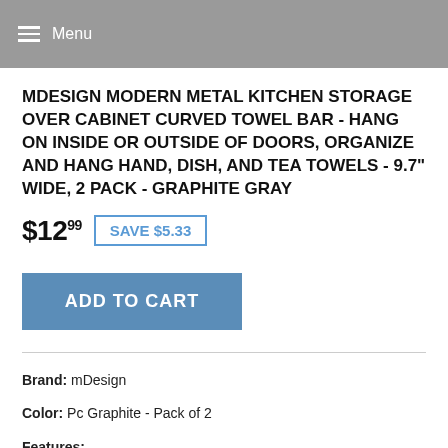Menu
MDESIGN MODERN METAL KITCHEN STORAGE OVER CABINET CURVED TOWEL BAR - HANG ON INSIDE OR OUTSIDE OF DOORS, ORGANIZE AND HANG HAND, DISH, AND TEA TOWELS - 9.7" WIDE, 2 PACK - GRAPHITE GRAY
$12.99  SAVE $5.33
ADD TO CART
Brand: mDesign
Color: Pc Graphite - Pack of 2
Features: